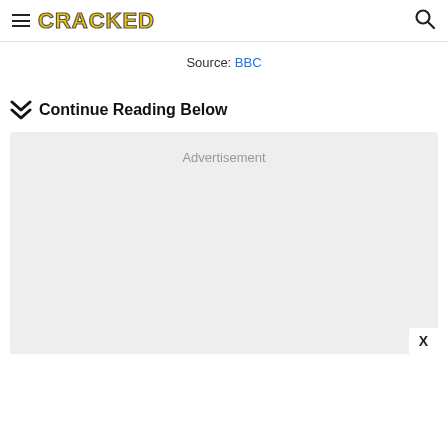CRACKED
Source: BBC
Continue Reading Below
[Figure (other): Advertisement placeholder box with close button X]